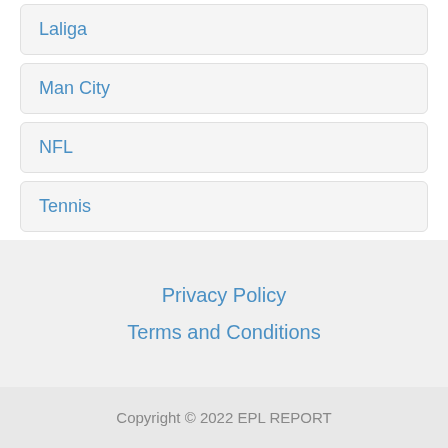Laliga
Man City
NFL
Tennis
Privacy Policy
Terms and Conditions
Copyright © 2022 EPL REPORT